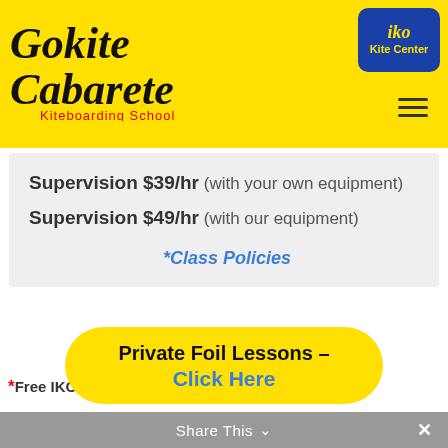[Figure (logo): Gokite Cabarete Kiteboarding School logo in cursive on yellow background, with IKO Kite Center badge top right]
Supervision $39/hr (with your own equipment)
Supervision $49/hr (with our equipment)
*Class Policies
*Free IKO Card included with your package!
Private Foil Lessons – Click Here
Share This ∨  ×